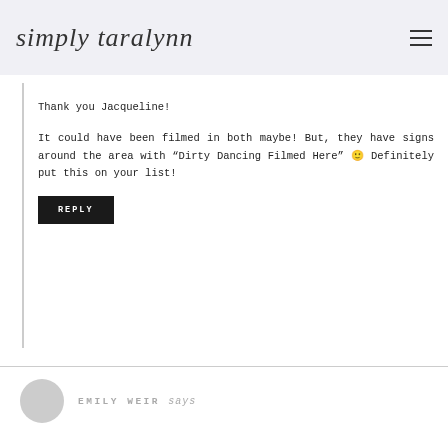simply taralynn
Thank you Jacqueline!

It could have been filmed in both maybe! But, they have signs around the area with “Dirty Dancing Filmed Here” 🙂 Definitely put this on your list!
REPLY
EMILY WEIR says